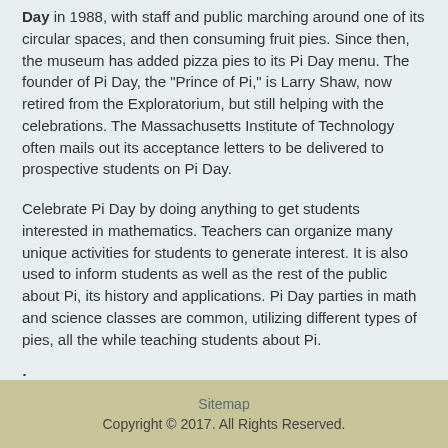Day in 1988, with staff and public marching around one of its circular spaces, and then consuming fruit pies. Since then, the museum has added pizza pies to its Pi Day menu. The founder of Pi Day, the "Prince of Pi," is Larry Shaw, now retired from the Exploratorium, but still helping with the celebrations. The Massachusetts Institute of Technology often mails out its acceptance letters to be delivered to prospective students on Pi Day.
Celebrate Pi Day by doing anything to get students interested in mathematics. Teachers can organize many unique activities for students to generate interest. It is also used to inform students as well as the rest of the public about Pi, its history and applications. Pi Day parties in math and science classes are common, utilizing different types of pies, all the while teaching students about Pi.
:
Sitemap
Copyright © 2017. All Rights Reserved.